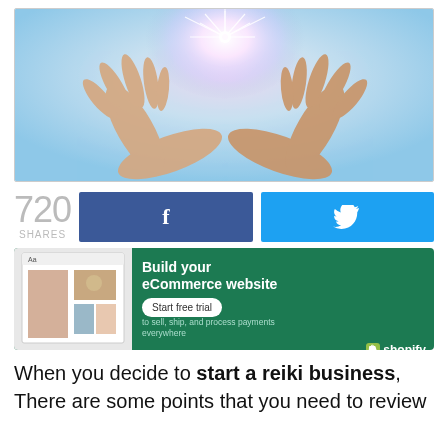[Figure (photo): Two open cupped hands raised upward with a bright glowing star-burst light above them, set against a soft pastel blue and pink gradient background.]
720 SHARES
[Figure (infographic): Facebook share button (blue with f icon) and Twitter share button (cyan with bird icon)]
[Figure (infographic): Shopify advertisement banner: Build your eCommerce website to sell, ship, and process payments everywhere. Start free trial button. Shopify logo.]
When you decide to start a reiki business, There are some points that you need to review